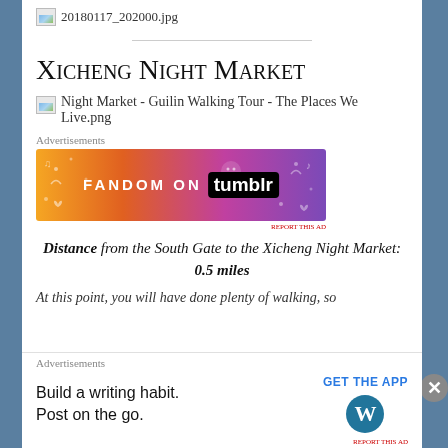[Figure (other): Broken image placeholder for 20180117_202000.jpg]
[Figure (other): Broken image placeholder for Night Market - Guilin Walking Tour - The Places We Live.png]
Xicheng Night Market
[Figure (other): Advertisement banner: FANDOM ON tumblr]
Distance from the South Gate to the Xicheng Night Market: 0.5 miles
At this point, you will have done plenty of walking, so
[Figure (other): Advertisement: Build a writing habit. Post on the go. GET THE APP [WordPress logo]]